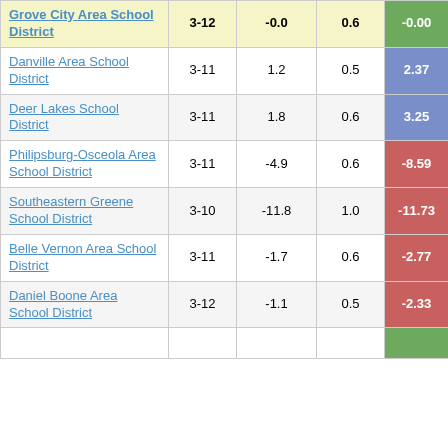| District | Grades | Col3 | Col4 | Score |
| --- | --- | --- | --- | --- |
| Grove City Area School District | 3-12 | -0.0 | 0.6 | -0.00 |
| Danville Area School District | 3-11 | 1.2 | 0.5 | 2.37 |
| Deer Lakes School District | 3-11 | 1.8 | 0.6 | 3.25 |
| Philipsburg-Osceola Area School District | 3-11 | -4.9 | 0.6 | -8.59 |
| Southeastern Greene School District | 3-10 | -11.8 | 1.0 | -11.73 |
| Belle Vernon Area School District | 3-11 | -1.7 | 0.6 | -2.77 |
| Daniel Boone Area School District | 3-12 | -1.1 | 0.5 | -2.33 |